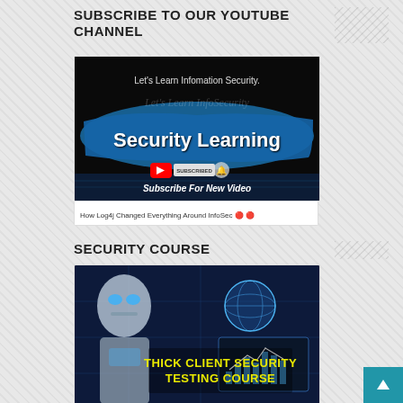SUBSCRIBE TO OUR YOUTUBE CHANNEL
[Figure (screenshot): YouTube channel thumbnail for 'Security Learning' channel showing 'Let's Learn Information Security.' text, a blue paint stroke background with 'Security Learning' text, YouTube subscribe button, and 'Subscribe For New Video' text]
How Log4j Changed Everything Around InfoSec 🔴 🔴
SECURITY COURSE
[Figure (screenshot): Course thumbnail showing a robot/AI figure with 'THICK CLIENT SECURITY TESTING COURSE' text in yellow on a blue tech background with globe and chart graphics]